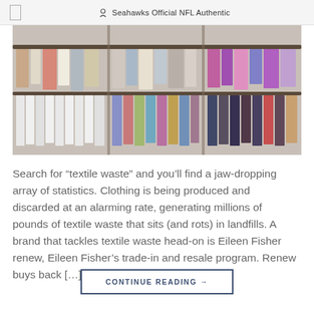Seahawks Official NFL Authentic
[Figure (photo): A crowded clothing rack with many garments hanging densely, including reds, neutrals, purples, and colorful pieces on hangers.]
Search for “textile waste” and you’ll find a jaw-dropping array of statistics. Clothing is being produced and discarded at an alarming rate, generating millions of pounds of textile waste that sits (and rots) in landfills. A brand that tackles textile waste head-on is Eileen Fisher renew, Eileen Fisher’s trade-in and resale program. Renew buys back […]
CONTINUE READING →